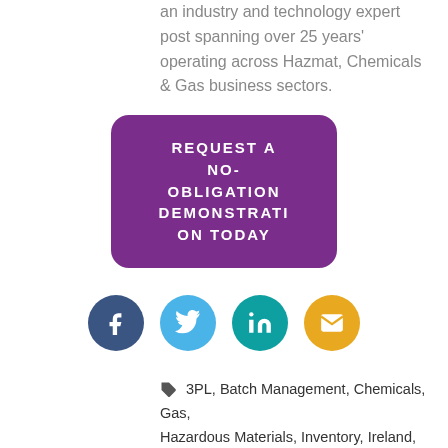an industry and technology expert post spanning over 25 years' operating across Hazmat, Chemicals & Gas business sectors.
[Figure (other): Purple rounded rectangle button with white uppercase text: REQUEST A NO-OBLIGATION DEMONSTRATION TODAY]
[Figure (other): Row of four social media icons: Facebook (dark blue circle), Twitter (light blue circle), LinkedIn (teal circle), Email (gold circle)]
3PL, Batch Management, Chemicals, Gas, Hazardous Materials, Inventory, Ireland, Logistics, Product Handling, Sampling, Supply Chain, UK, Warehouse Management Software, WMS